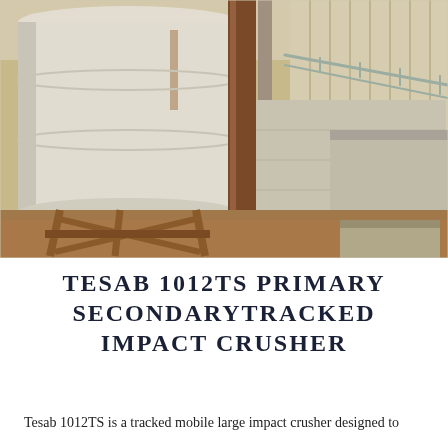[Figure (photo): Industrial facility photo showing large white cylindrical silo/tank on the left supported by metal cross-braced legs, a central concrete block structure, and fabric dust filters hanging vertically at top right. A metal railing runs diagonally. The ground shows reddish-brown dirt. Overall tones are beige, white, rust, and tan.]
TESAB 1012TS PRIMARY SECONDARYTRACKED IMPACT CRUSHER
Tesab 1012TS is a tracked mobile large impact crusher designed to